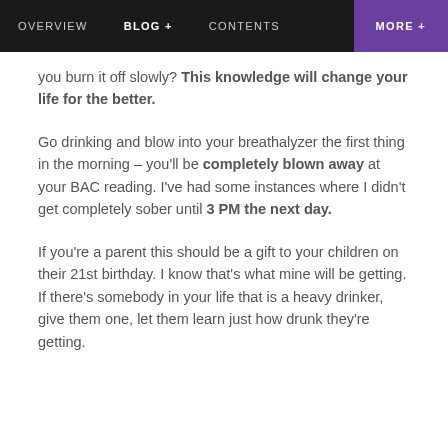OVERVIEW  BLOG+  CONTENTS  MORE +
you burn it off slowly? This knowledge will change your life for the better.
Go drinking and blow into your breathalyzer the first thing in the morning – you'll be completely blown away at your BAC reading. I've had some instances where I didn't get completely sober until 3 PM the next day.
If you're a parent this should be a gift to your children on their 21st birthday. I know that's what mine will be getting. If there's somebody in your life that is a heavy drinker, give them one, let them learn just how drunk they're getting.